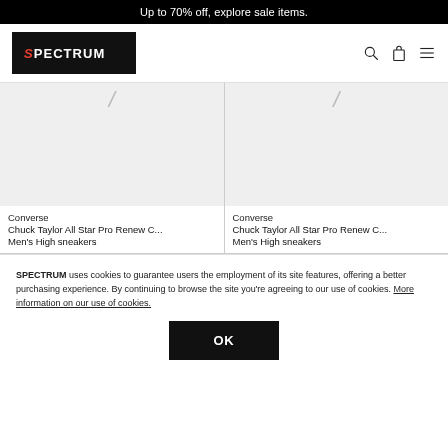Up to 70% off, explore sale items.
[Figure (logo): SPECTRUM logo in white text on black background]
Converse
Chuck Taylor All Star Pro Renew C...
Men's High sneakers
Converse
Chuck Taylor All Star Pro Renew C...
Men's High sneakers
SPECTRUM uses cookies to guarantee users the employment of its site features, offering a better purchasing experience. By continuing to browse the site you're agreeing to our use of cookies. More information on our use of cookies.
OK